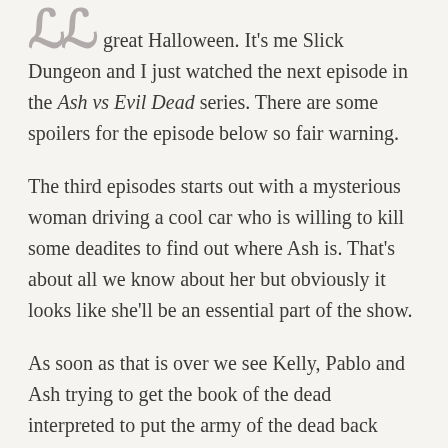great Halloween. It's me Slick Dungeon and I just watched the next episode in the Ash vs Evil Dead series. There are some spoilers for the episode below so fair warning.

The third episodes starts out with a mysterious woman driving a cool car who is willing to kill some deadites to find out where Ash is. That's about all we know about her but obviously it looks like she'll be an essential part of the show.

As soon as that is over we see Kelly, Pablo and Ash trying to get the book of the dead interpreted to put the army of the dead back where they belong. While trying to do this Ash decides the best idea